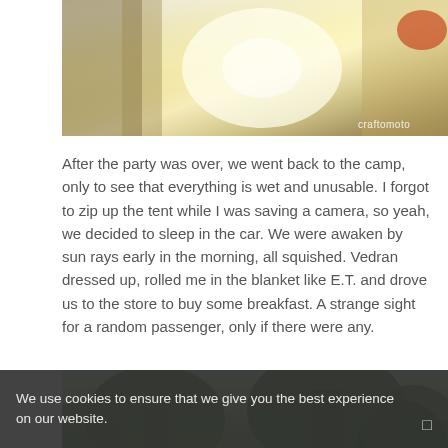[Figure (photo): Close-up photo of two people at a party, bright sunlight, one holding a drink, wearing a floral and lace outfit. Watermark 'craftomoto' in bottom right.]
After the party was over, we went back to the camp, only to see that everything is wet and unusable. I forgot to zip up the tent while I was saving a camera, so yeah, we decided to sleep in the car. We were awaken by sun rays early in the morning, all squished. Vedran dressed up, rolled me in the blanket like E.T. and drove us to the store to buy some breakfast. A strange sight for a random passenger, only if there were any.
[Figure (photo): Outdoor camping scene with blue/purple tents set up among large trees with green foliage. A person visible sitting near the tents.]
We use cookies to ensure that we give you the best experience on our website.